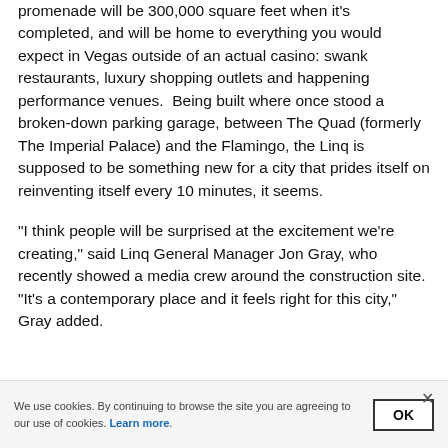promenade will be 300,000 square feet when it's completed, and will be home to everything you would expect in Vegas outside of an actual casino: swank restaurants, luxury shopping outlets and happening performance venues.  Being built where once stood a broken-down parking garage, between The Quad (formerly The Imperial Palace) and the Flamingo, the Linq is supposed to be something new for a city that prides itself on reinventing itself every 10 minutes, it seems.
“I think people will be surprised at the excitement we’re creating,” said Linq General Manager Jon Gray, who recently showed a media crew around the construction site. “It’s a contemporary place and it feels right for this city,” Gray added.
We use cookies. By continuing to browse the site you are agreeing to our use of cookies. Learn more.